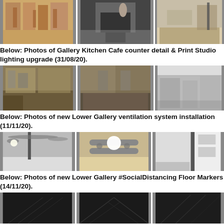[Figure (photo): Three photos of gallery interior spaces showing retail/cafe areas]
Below: Photos of Gallery Kitchen Cafe counter detail & Print Studio lighting upgrade (31/08/20).
[Figure (photo): Three photos of Gallery Kitchen Cafe counter detail and Print Studio lighting upgrade]
Below: Photos of new Lower Gallery ventilation system installation (11/11/20).
[Figure (photo): Three photos of new Lower Gallery ventilation system installation]
Below: Photos of new Lower Gallery #SocialDistancing Floor Markers (14/11/20).
[Figure (photo): Three photos of new Lower Gallery social distancing floor markers (partially visible, dark floor)]